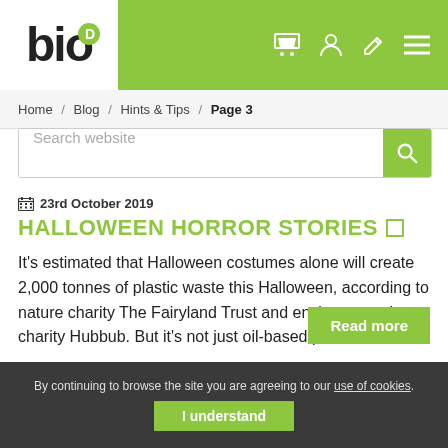[Figure (logo): Bio-D logo: white box with 'bio' text and green circled D, on green header background with cart, user, pencil, and menu icons]
Home / Blog / Hints & Tips / Page 3
Search website
23rd October 2019
HALLOWEEN HORROR STORIES
It's estimated that Halloween costumes alone will create 2,000 tonnes of plastic waste this Halloween, according to nature charity The Fairyland Trust and environmental charity Hubbub. But it's not just oil-based plastic costumes that are taking their toll on the planet. Halloween decorations are also packed with unnecessary plastic that are easily avoidable. Take a [...]
Read more
By continuing to browse the site you are agreeing to our use of cookies. I understand